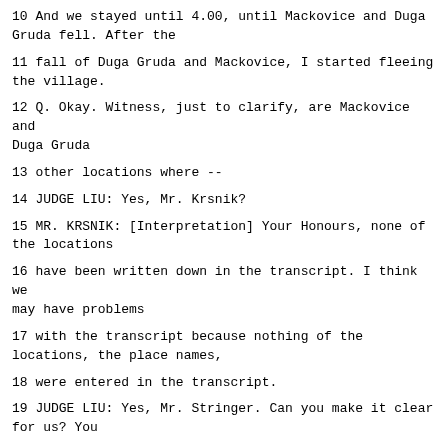10 And we stayed until 4.00, until Mackovice and Duga Gruda fell. After the
11 fall of Duga Gruda and Mackovice, I started fleeing the village.
12 Q. Okay. Witness, just to clarify, are Mackovice and Duga Gruda
13 other locations where --
14 JUDGE LIU: Yes, Mr. Krsnik?
15 MR. KRSNIK: [Interpretation] Your Honours, none of the locations
16 have been written down in the transcript. I think we may have problems
17 with the transcript because nothing of the locations, the place names,
18 were entered in the transcript.
19 JUDGE LIU: Yes, Mr. Stringer. Can you make it clear for us? You
20 may ask some questions and ask the witness to spell out those locations.
21 MR. STRINGER: I will do that.